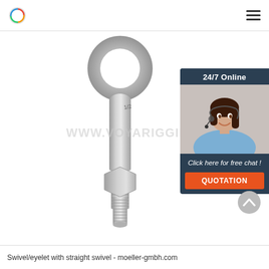Navigation bar with logo and hamburger menu
[Figure (photo): Galvanized steel eye bolt with circular eye ring, threaded shank, and hex nut, shown on white background. Watermark text: WWW.VOYARIGGING.]
[Figure (infographic): Sidebar widget showing 24/7 Online customer service agent photo with headset, 'Click here for free chat!' text, and orange QUOTATION button on dark blue background.]
[Figure (other): Grey circular back-to-top scroll button with upward chevron arrow.]
Swivel/eyelet with straight swivel - moeller-gmbh.com